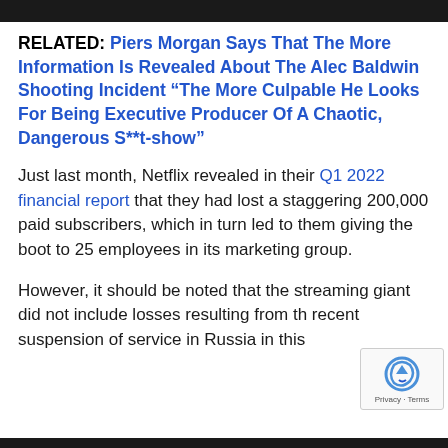RELATED: Piers Morgan Says That The More Information Is Revealed About The Alec Baldwin Shooting Incident “The More Culpable He Looks For Being Executive Producer Of A Chaotic, Dangerous S**t-show”
Just last month, Netflix revealed in their Q1 2022 financial report that they had lost a staggering 200,000 paid subscribers, which in turn led to them giving the boot to 25 employees in its marketing group.
However, it should be noted that the streaming giant did not include losses resulting from th recent suspension of service in Russia in this